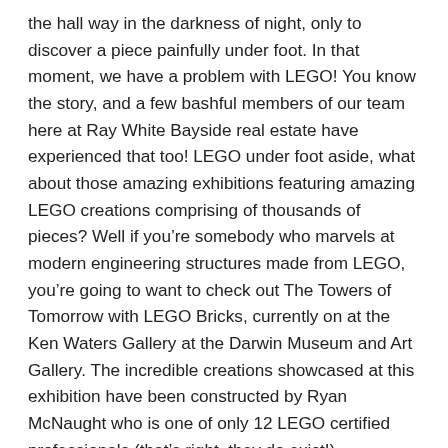the hall way in the darkness of night, only to discover a piece painfully under foot. In that moment, we have a problem with LEGO! You know the story, and a few bashful members of our team here at Ray White Bayside real estate have experienced that too! LEGO under foot aside, what about those amazing exhibitions featuring amazing LEGO creations comprising of thousands of pieces? Well if you're somebody who marvels at modern engineering structures made from LEGO, you're going to want to check out The Towers of Tomorrow with LEGO Bricks, currently on at the Ken Waters Gallery at the Darwin Museum and Art Gallery. The incredible creations showcased at this exhibition have been constructed by Ryan McNaught who is one of only 12 LEGO certified professionals (that's right, they do exist!) worldwide! The exhibition is a celebration of the tall and amazing buildings featured throughout Australia and Asia, and you are definitely going to be impressed by what your eyes will see! An interactive exhibition for children and adults alike, it's estimated that more than 200,000 loose pieces of LEGO went into the amazing construction of the towers and you'll not be...